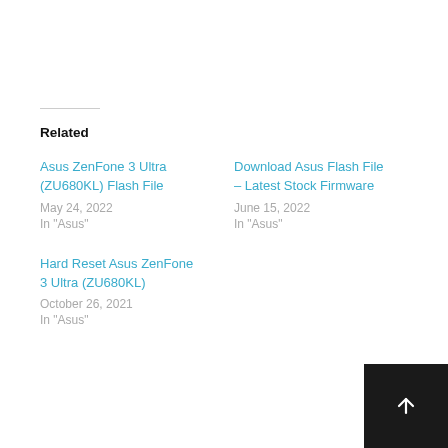Related
Asus ZenFone 3 Ultra (ZU680KL) Flash File
May 24, 2022
In "Asus"
Download Asus Flash File – Latest Stock Firmware
June 15, 2022
In "Asus"
Hard Reset Asus ZenFone 3 Ultra (ZU680KL)
October 26, 2021
In "Asus"